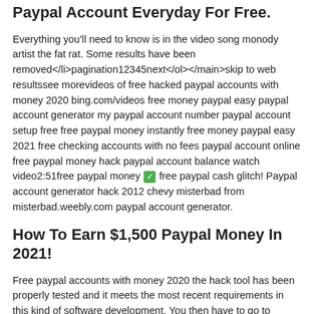Paypal Account Everyday For Free.
Everything you'll need to know is in the video song monody artist the fat rat. Some results have been removed</li>pagination12345next</ol></main>skip to web resultssee morevideos of free hacked paypal accounts with money 2020 bing.com/videos free money paypal easy paypal account generator my paypal account number paypal account setup free free paypal money instantly free money paypal easy 2021 free checking accounts with no fees paypal account online free paypal money hack paypal account balance watch video2:51free paypal money ✅ free paypal cash glitch! Paypal account generator hack 2012 chevy misterbad from misterbad.weebly.com paypal account generator.
How To Earn $1,500 Paypal Money In 2021!
Free paypal accounts with money 2020 the hack tool has been properly tested and it meets the most recent requirements in this kind of software development. You then have to go to settings, put in a paypal gift card option and click and.